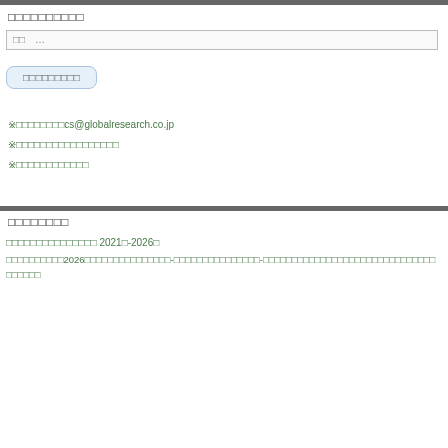□□□□□□□□□□
□□  …
□□□□□□□□□
※□□□□□□□□cs@globalresearch.co.jp
※□□□□□□□□□□□□□□□□□
※□□□□□□□□□□□□
□□□□□□□□
□□□□□□□□□□□□□□□ 2021□-2026□
□□□□□□□□□□2026□□□□□□□□□□□□□□□-□□□□□□□□□□□□□□□-□□□□□□□□□□□□□□□□□□□□□□□□□□□□□□